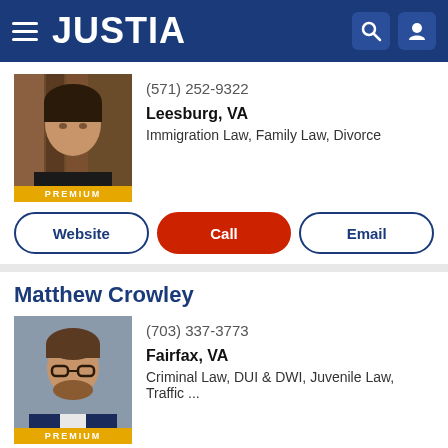JUSTIA
(571) 252-9322
Leesburg, VA
Immigration Law, Family Law, Divorce
Website | Call | Email
Matthew Crowley
(703) 337-3773
Fairfax, VA
Criminal Law, DUI & DWI, Juvenile Law, Traffic ...
Website | Call | Email
Andrei I. Kublan